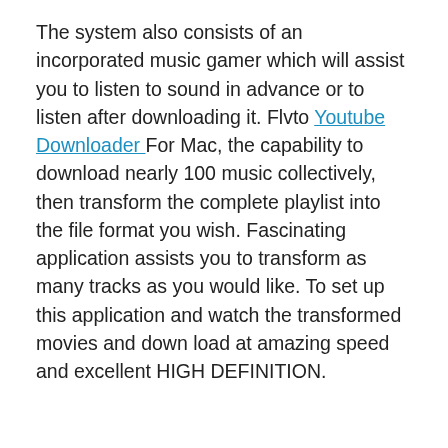The system also consists of an incorporated music gamer which will assist you to listen to sound in advance or to listen after downloading it. Flvto Youtube Downloader For Mac, the capability to download nearly 100 music collectively, then transform the complete playlist into the file format you wish. Fascinating application assists you to transform as many tracks as you would like. To set up this application and watch the transformed movies and down load at amazing speed and excellent HIGH DEFINITION.